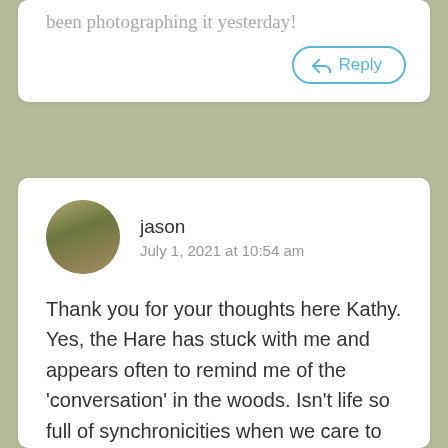been photographing it yesterday!
Reply
[Figure (photo): Circular avatar photo of a man named jason wearing a hat, outdoors]
jason
July 1, 2021 at 10:54 am
Thank you for your thoughts here Kathy. Yes, the Hare has stuck with me and appears often to remind me of the 'conversation' in the woods. Isn't life so full of synchronicities when we care to be open to the